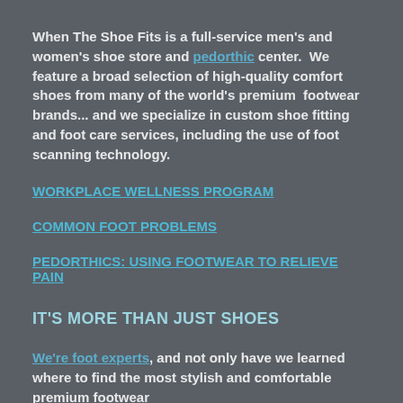When The Shoe Fits is a full-service men's and women's shoe store and pedorthic center.  We feature a broad selection of high-quality comfort shoes from many of the world's premium  footwear  brands... and we specialize in custom shoe fitting and foot care services, including the use of foot scanning technology.
WORKPLACE WELLNESS PROGRAM
COMMON FOOT PROBLEMS
PEDORTHICS: USING FOOTWEAR TO RELIEVE PAIN
IT'S MORE THAN JUST SHOES
We're foot experts, and not only have we learned where to find the most stylish and comfortable premium footwear